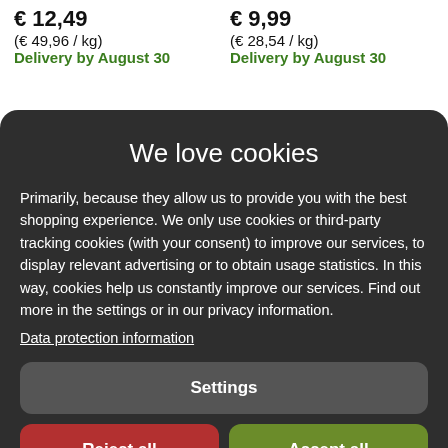€ 12,49
(€ 49,96 / kg)
Delivery by August 30
€ 9,99
(€ 28,54 / kg)
Delivery by August 30
We love cookies
Primarily, because they allow us to provide you with the best shopping experience. We only use cookies or third-party tracking cookies (with your consent) to improve our services, to display relevant advertising or to obtain usage statistics. In this way, cookies help us constantly improve our services. Find out more in the settings or in our privacy information.
Data protection information
Settings
Reject all
Accept all